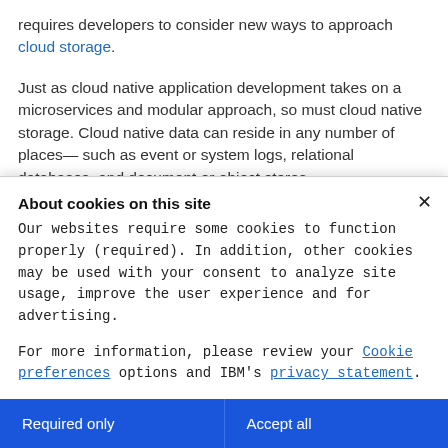requires developers to consider new ways to approach cloud storage.
Just as cloud native application development takes on a microservices and modular approach, so must cloud native storage. Cloud native data can reside in any number of places— such as event or system logs, relational databases, and document or object stores.
About cookies on this site
Our websites require some cookies to function properly (required). In addition, other cookies may be used with your consent to analyze site usage, improve the user experience and for advertising.
For more information, please review your Cookie preferences options and IBM's privacy statement.
Required only
Accept all